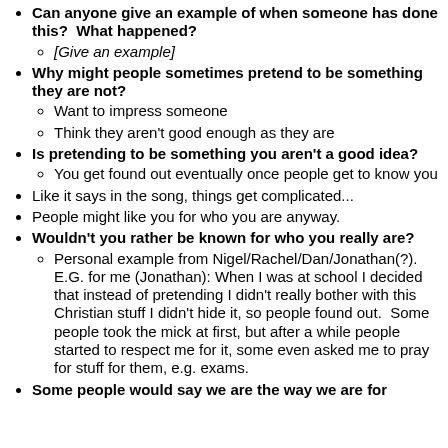Can anyone give an example of when someone has done this? What happened?
[Give an example]
Why might people sometimes pretend to be something they are not?
Want to impress someone
Think they aren't good enough as they are
Is pretending to be something you aren't a good idea?
You get found out eventually once people get to know you
Like it says in the song, things get complicated...
People might like you for who you are anyway.
Wouldn't you rather be known for who you really are?
Personal example from Nigel/Rachel/Dan/Jonathan(?).  E.G. for me (Jonathan): When I was at school I decided that instead of pretending I didn't really bother with this Christian stuff I didn't hide it, so people found out.  Some people took the mick at first, but after a while people started to respect me for it, some even asked me to pray for stuff for them, e.g. exams.
Some people would say we are the way we are for a reason. What do you think of that idea?